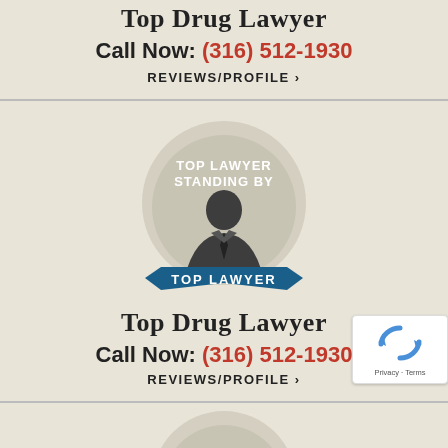Top Drug Lawyer
Call Now: (316) 512-1930
REVIEWS/PROFILE ❯
[Figure (illustration): Circular badge with silhouette of a lawyer wearing a suit and tie, text 'TOP LAWYER STANDING BY' above the figure, and a blue ribbon banner at the bottom reading 'TOP LAWYER']
Top Drug Lawyer
Call Now: (316) 512-1930
REVIEWS/PROFILE ❯
[Figure (illustration): Partial circular badge at bottom of page, showing the top arc of the same lawyer silhouette badge]